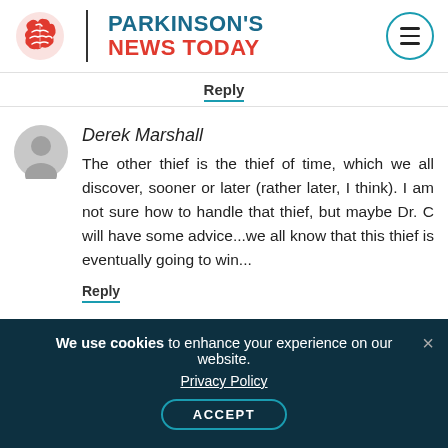[Figure (logo): Parkinson's News Today logo with brain icon and site name]
Reply
Derek Marshall
The other thief is the thief of time, which we all discover, sooner or later (rather later, I think). I am not sure how to handle that thief, but maybe Dr. C will have some advice...we all know that this thief is eventually going to win...
Reply
We use cookies to enhance your experience on our website. Privacy Policy ACCEPT